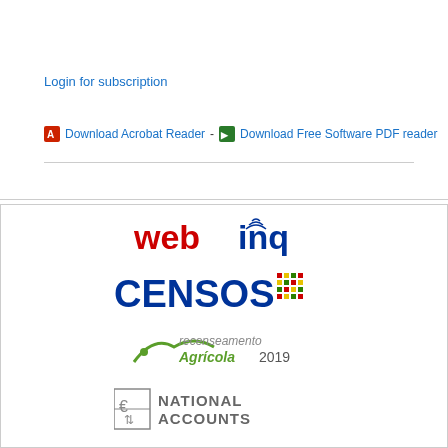Login for subscription
Download Acrobat Reader - Download Free Software PDF reader
[Figure (logo): webinq logo]
[Figure (logo): CENSOS logo with colorful dot grid]
[Figure (logo): recenseamento Agrícola 2019 logo]
[Figure (logo): National Accounts logo with Euro icon]
[Figure (logo): IPC - Índice de Preços no Consumidor logo]
SUSTAINABLE